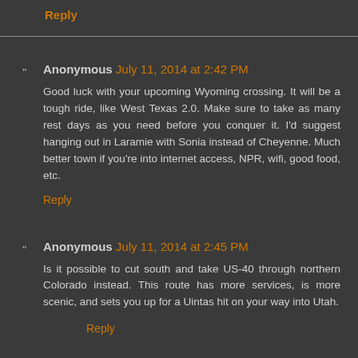Reply
Anonymous July 11, 2014 at 2:42 PM
Good luck with your upcoming Wyoming crossing. It will be a tough ride, like West Texas 2.0. Make sure to take as many rest days as you need before you conquer it. I'd suggest hanging out in Laramie with Sonia instead of Cheyenne. Much better town if you're into internet access, NPR, wifi, good food, etc.
Reply
Anonymous July 11, 2014 at 2:45 PM
Is it possible to cut south and take US-40 through northern Colorado instead. This route has more services, is more scenic, and sets you up for a Uintas hit on your way into Utah.
Reply